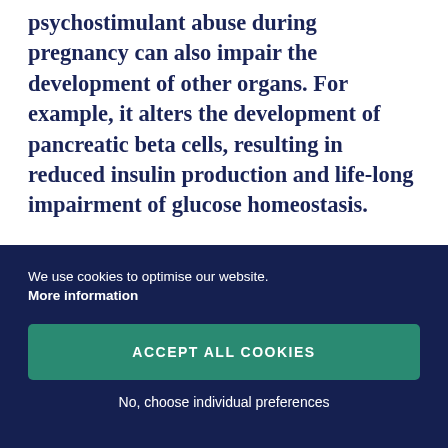psychostimulant abuse during pregnancy can also impair the development of other organs. For example, it alters the development of pancreatic beta cells, resulting in reduced insulin production and life-long impairment of glucose homeostasis.
Data from the US indicate that between 5-10% of mothers consume psychostimulants (such as
We use cookies to optimise our website. More information
ACCEPT ALL COOKIES
No, choose individual preferences